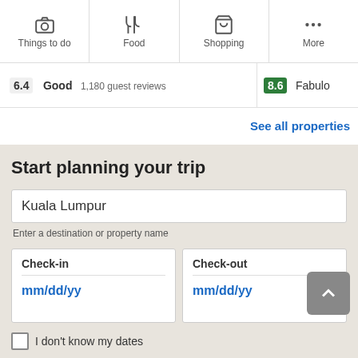[Figure (screenshot): Navigation bar with icons: Things to do (camera icon), Food (fork/knife icon), Shopping (bag icon), More (three dots icon)]
6.4  Good  1,180 guest reviews
8.6  Fabulo
See all properties
Start planning your trip
Kuala Lumpur
Enter a destination or property name
Check-in
mm/dd/yy
Check-out
mm/dd/yy
I don't know my dates